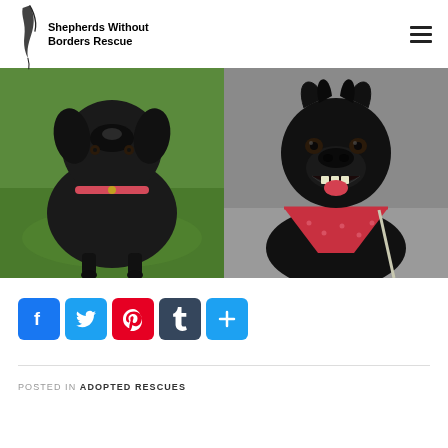Shepherds Without Borders Rescue
[Figure (photo): Two photos of a black dog. Left photo: black dog standing on green grass wearing a pink/red collar, viewed from the front. Right photo: close-up of a black dog smiling/panting, wearing a red bandana around its neck.]
[Figure (infographic): Social media share buttons: Facebook (blue), Twitter (light blue), Pinterest (red), Tumblr (dark blue-gray), Share/Add (light blue)]
POSTED IN ADOPTED RESCUES